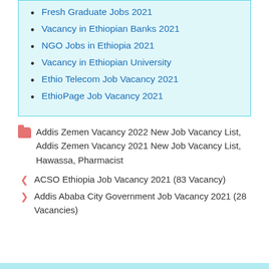Fresh Graduate Jobs 2021
Vacancy in Ethiopian Banks 2021
NGO Jobs in Ethiopia 2021
Vacancy in Ethiopian University
Ethio Telecom Job Vacancy 2021
EthioPage Job Vacancy 2021
Addis Zemen Vacancy 2022 New Job Vacancy List, Addis Zemen Vacancy 2021 New Job Vacancy List, Hawassa, Pharmacist
ACSO Ethiopia Job Vacancy 2021 (83 Vacancy)
Addis Ababa City Government Job Vacancy 2021 (28 Vacancies)